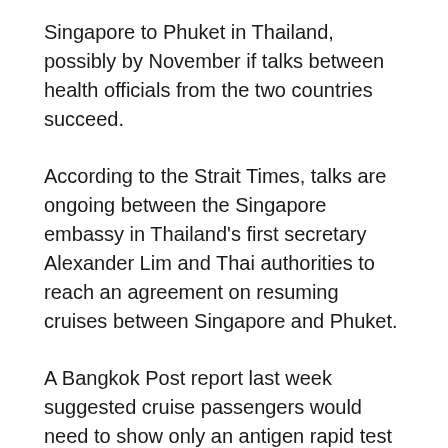Singapore to Phuket in Thailand, possibly by November if talks between health officials from the two countries succeed.
According to the Strait Times, talks are ongoing between the Singapore embassy in Thailand's first secretary Alexander Lim and Thai authorities to reach an agreement on resuming cruises between Singapore and Phuket.
A Bangkok Post report last week suggested cruise passengers would need to show only an antigen rapid test (ART) result taken within 24 hours of departure. All cruise passengers would have to be fully vaccinated or have other certifications to show why they did not need to be vaccinated.